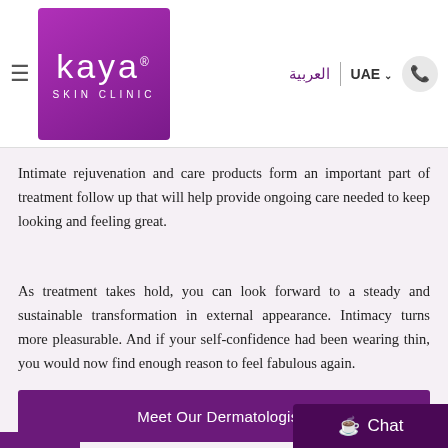[Figure (logo): Kaya Skin Clinic logo — white text on purple/magenta square background with 'kaya' in large letters and 'SKIN CLINIC' below]
العربية  |  UAE
Intimate rejuvenation and care products form an important part of treatment follow up that will help provide ongoing care needed to keep looking and feeling great.
As treatment takes hold, you can look forward to a steady and sustainable transformation in external appearance. Intimacy turns more pleasurable. And if your self-confidence had been wearing thin, you would now find enough reason to feel fabulous again.
Meet Our Dermatologists
Book an Appointment
Chat